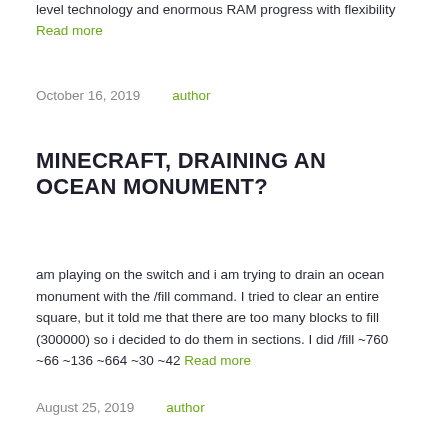level technology and enormous RAM progress with flexibility Read more
October 16, 2019    author
MINECRAFT, DRAINING AN OCEAN MONUMENT?
am playing on the switch and i am trying to drain an ocean monument with the /fill command. I tried to clear an entire square, but it told me that there are too many blocks to fill (300000) so i decided to do them in sections. I did /fill ~760 ~66 ~136 ~664 ~30 ~42 Read more
August 25, 2019    author